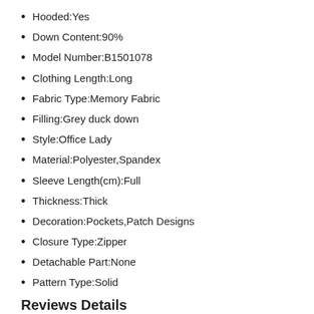Hooded:Yes
Down Content:90%
Model Number:B1501078
Clothing Length:Long
Fabric Type:Memory Fabric
Filling:Grey duck down
Style:Office Lady
Material:Polyester,Spandex
Sleeve Length(cm):Full
Thickness:Thick
Decoration:Pockets,Patch Designs
Closure Type:Zipper
Detachable Part:None
Pattern Type:Solid
Reviews Details